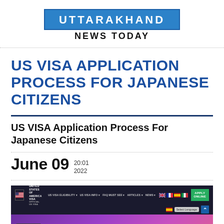[Figure (logo): Uttarakhand News Today logo — blue rectangular box with white text 'UTTARAKHAND' and 'NEWS TODAY' below in black]
US VISA APPLICATION PROCESS FOR JAPANESE CITIZENS
US VISA Application Process For Japanese Citizens
June 09   20:01 2022
[Figure (screenshot): Screenshot of a US Visa website navigation bar with dark background, US flag, navigation links (US VISA ELIGIBILITY, US VISA INFO, FAQ, MUST SEE, ARTICLES, NEWS), language flags, Select Language dropdown, APPLY ONLINE green button, and a purple gradient banner below]